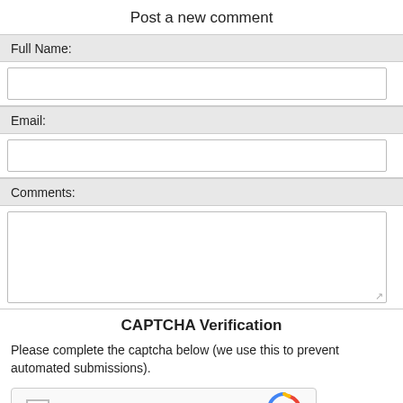Post a new comment
Full Name:
Email:
Comments:
CAPTCHA Verification
Please complete the captcha below (we use this to prevent automated submissions).
[Figure (screenshot): reCAPTCHA widget with checkbox and 'I'm not a robot' label, and reCAPTCHA logo]